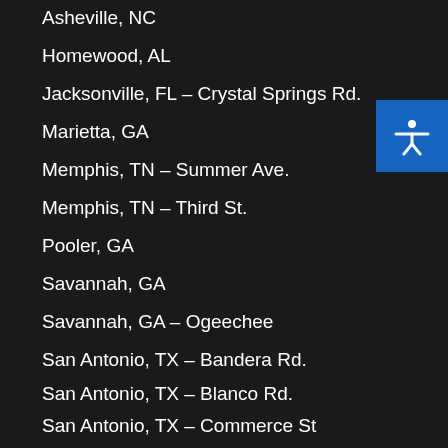Asheville, NC
Homewood, AL
Jacksonville, FL – Crystal Springs Rd.
Marietta, GA
Memphis, TN – Summer Ave.
Memphis, TN – Third St.
Pooler, GA
Savannah, GA
Savannah, GA – Ogeechee
San Antonio, TX – Bandera Rd.
San Antonio, TX – Blanco Rd.
San Antonio, TX – Commerce St
San Antonio, TX – Culebra Rd.
San Antonio, TX – Fresno Rd.